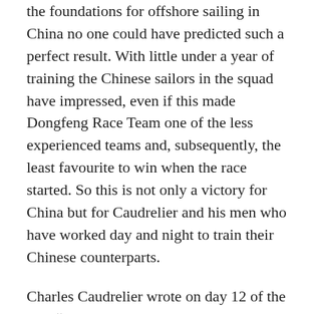the foundations for offshore sailing in China no one could have predicted such a perfect result. With little under a year of training the Chinese sailors in the squad have impressed, even if this made Dongfeng Race Team one of the less experienced teams and, subsequently, the least favourite to win when the race started. So this is not only a victory for China but for Caudrelier and his men who have worked day and night to train their Chinese counterparts.
Charles Caudrelier wrote on day 12 of the leg: “I am watching them with admiration, we’re leading this leg, we’re at the top of the overall leaderboard – you can’t compete with the race favourites without a great team. And to build a great team, you need great players. Thinking about the journey of the Chinese sailors since February 2014, Black didn’t speak a word of English and had never spent a night at sea. But from the first day he really impressed me, the day...